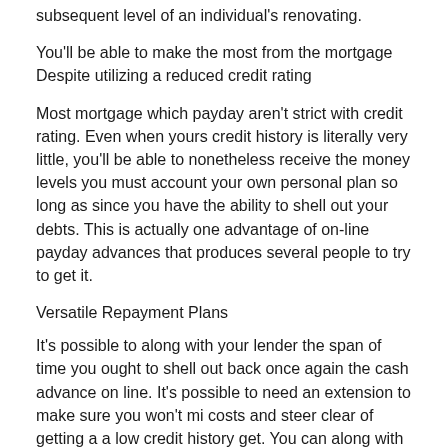subsequent level of an individual's renovating.
You'll be able to make the most from the mortgage Despite utilizing a reduced credit rating
Most mortgage which payday aren't strict with credit rating. Even when yours credit history is literally very little, you'll be able to nonetheless receive the money levels you must account your own personal plan so long as since you have the ability to shell out your debts. This is actually one advantage of on-line payday advances that produces several people to try to get it.
Versatile Repayment Plans
It's possible to along with your lender the span of time you ought to shell out back once again the cash advance on line. It's possible to need an extension to make sure you won't mi costs and steer clear of getting a a low credit history get. You can along with your financial institution don't impose prepayment charges hence if you have the revenue because of it that you can pay the loan early.
Takeaway